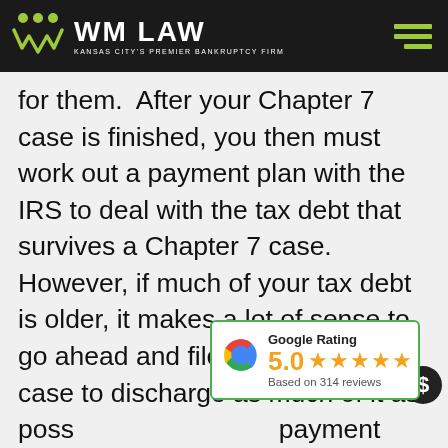[Figure (logo): WM Law logo — Kansas City's Premier Bankruptcy Firm, white text on black header bar with green hamburger menu icon]
for them.  After your Chapter 7 case is finished, you then must work out a payment plan with the IRS to deal with the tax debt that survives a Chapter 7 case.  However, if much of your tax debt is older, it makes a lot of sense to go ahead and file a Chapter 7 case to discharge as much of it as poss payment plan wit of the surviving tax debt.  A recent Chapter 7
[Figure (infographic): Google Rating card showing 5.0 stars based on 314 reviews, with Google G logo, green border]